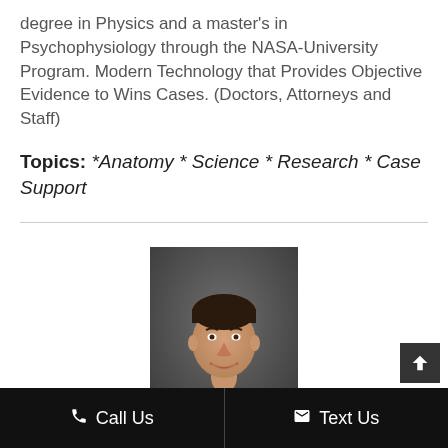degree in Physics and a master's in Psychophysiology through the NASA-University Program. Modern Technology that Provides Objective Evidence to Wins Cases. (Doctors, Attorneys and Staff)
Topics: *Anatomy * Science * Research * Case Support
[Figure (photo): Professional headshot of a smiling man in a grey plaid blazer, blue shirt, and light patterned tie, photographed against a dark background]
Call Us   Text Us